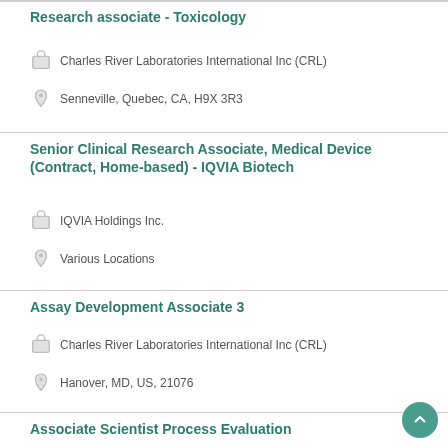Research associate - Toxicology
Charles River Laboratories International Inc (CRL)
Senneville, Quebec, CA, H9X 3R3
Senior Clinical Research Associate, Medical Device (Contract, Home-based) - IQVIA Biotech
IQVIA Holdings Inc.
Various Locations
Assay Development Associate 3
Charles River Laboratories International Inc (CRL)
Hanover, MD, US, 21076
Associate Scientist Process Evaluation